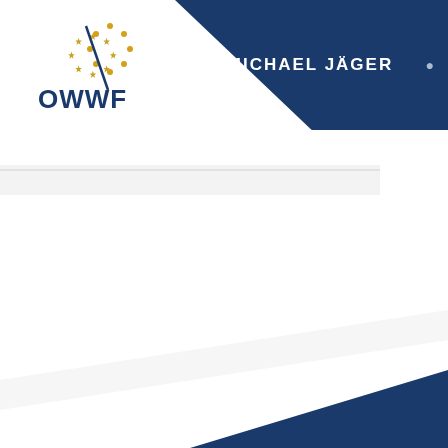[Figure (logo): OWWF logo with text 'OWWF' and a circular arrangement of gold stars with a slash/line graphic, in navy blue and gold on white background]
MICHAEL JÄGER